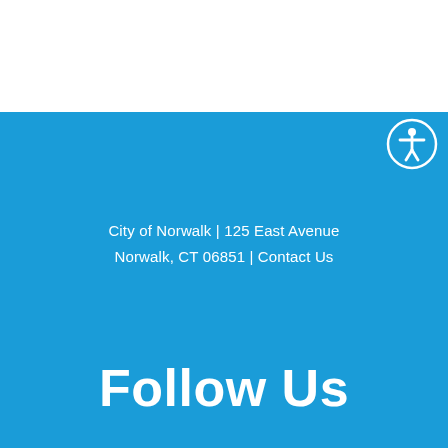[Figure (other): Accessibility icon (person with arms outstretched in a circle) in white on blue background, top right corner]
City of Norwalk | 125 East Avenue
Norwalk, CT 06851 | Contact Us
Follow Us